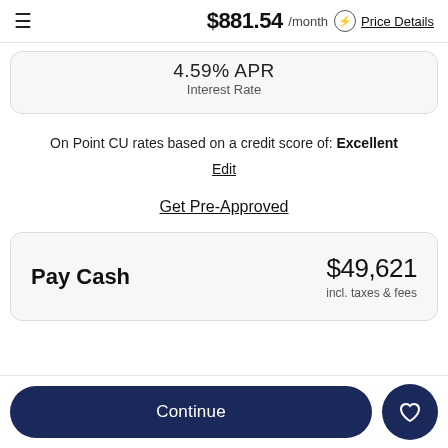$881.54 /month ⓘ Price Details
4.59% APR
Interest Rate
On Point CU rates based on a credit score of: Excellent
Edit
Get Pre-Approved
Pay Cash $49,621 incl. taxes & fees
Continue